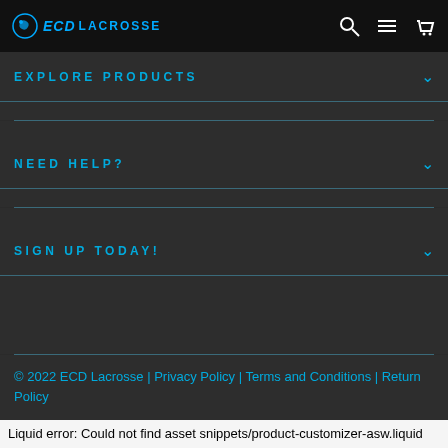ECD LACROSSE
EXPLORE PRODUCTS
NEED HELP?
SIGN UP TODAY!
© 2022 ECD Lacrosse | Privacy Policy | Terms and Conditions | Return Policy
Powered by Shopify
Liquid error: Could not find asset snippets/product-customizer-asw.liquid